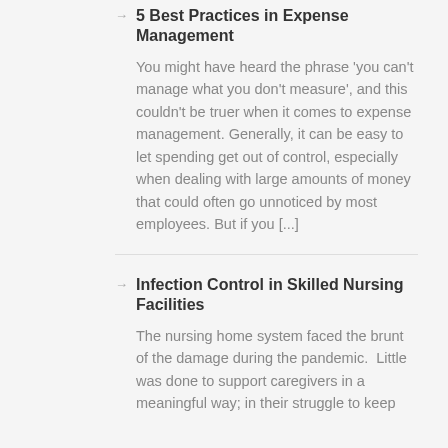5 Best Practices in Expense Management
You might have heard the phrase 'you can't manage what you don't measure', and this couldn't be truer when it comes to expense management. Generally, it can be easy to let spending get out of control, especially when dealing with large amounts of money that could often go unnoticed by most employees. But if you [...]
Infection Control in Skilled Nursing Facilities
The nursing home system faced the brunt of the damage during the pandemic.  Little was done to support caregivers in a meaningful way; in their struggle to keep